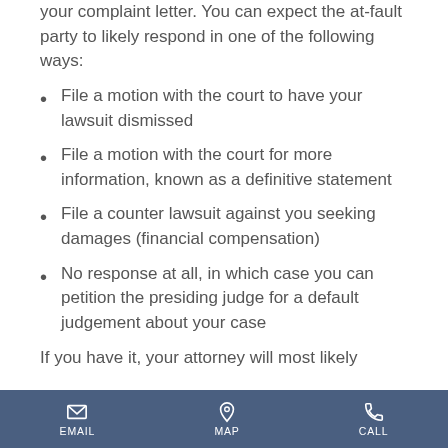your complaint letter. You can expect the at-fault party to likely respond in one of the following ways:
File a motion with the court to have your lawsuit dismissed
File a motion with the court for more information, known as a definitive statement
File a counter lawsuit against you seeking damages (financial compensation)
No response at all, in which case you can petition the presiding judge for a default judgement about your case
If you have it, your attorney will most likely...
EMAIL  MAP  CALL